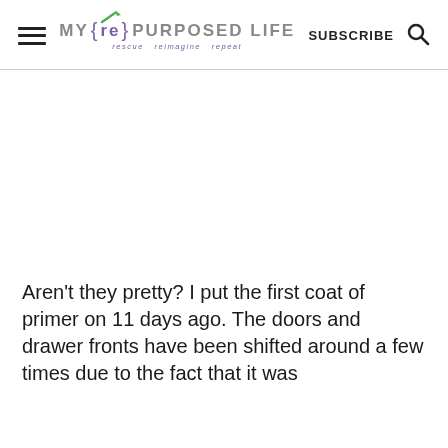MY {re} PURPOSED LIFE rescue reimagine repeat | SUBSCRIBE
[Figure (other): White blank space area where an image would appear]
Aren't they pretty? I put the first coat of primer on 11 days ago. The doors and drawer fronts have been shifted around a few times due to the fact that it was